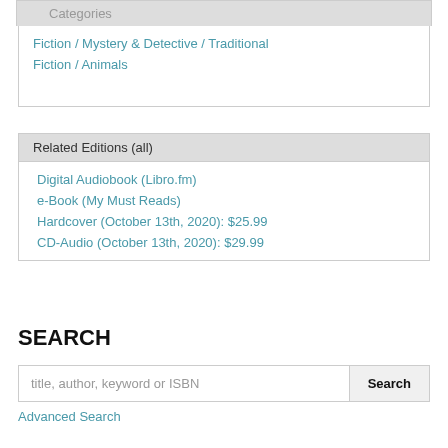Categories
Fiction / Mystery & Detective / Traditional
Fiction / Animals
Related Editions (all)
Digital Audiobook (Libro.fm)
e-Book (My Must Reads)
Hardcover (October 13th, 2020): $25.99
CD-Audio (October 13th, 2020): $29.99
SEARCH
title, author, keyword or ISBN
Advanced Search